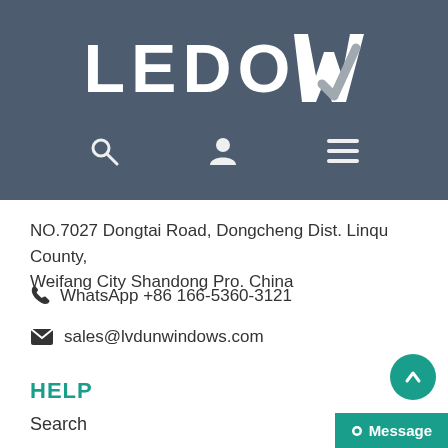[Figure (logo): LEDOW company logo with checkmark, white text on dark slate background, with navigation icons (search, user, menu)]
NO.7027 Dongtai Road, Dongcheng Dist. Linqu County, Weifang City Shandong Pro. China
WhatsApp +86 166-5360-3121
sales@lvdunwindows.com
HELP
Search